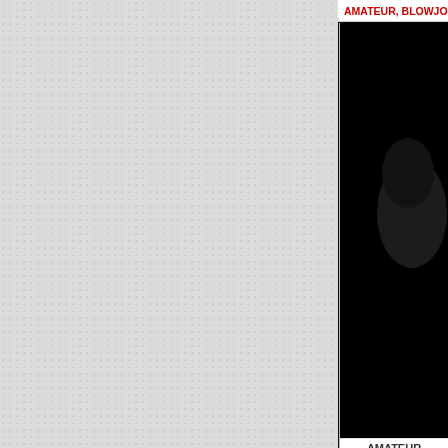[Figure (screenshot): Light gray textured background occupying the left ~75% of the page]
AMATEUR, BLOWJOB, B
[Figure (photo): Dark/black video thumbnail showing a person in low light on the right side panel]
AMATEUR
0:17
HAMMY
AMATEUR, BRUNETTE,
[Figure (photo): Video thumbnail split between black on left and a light-colored image on right, partially cropped at bottom of page]